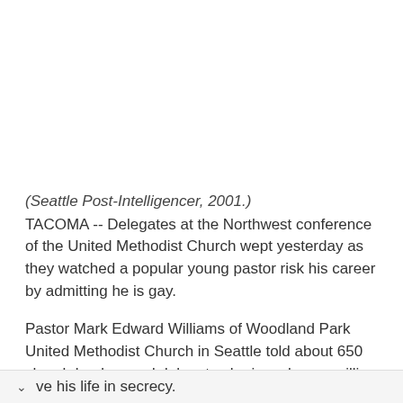(Seattle Post-Intelligencer, 2001.) TACOMA -- Delegates at the Northwest conference of the United Methodist Church wept yesterday as they watched a popular young pastor risk his career by admitting he is gay.
Pastor Mark Edward Williams of Woodland Park United Methodist Church in Seattle told about 650 church leaders and delegates he is no longer willing to live his life in secrecy.